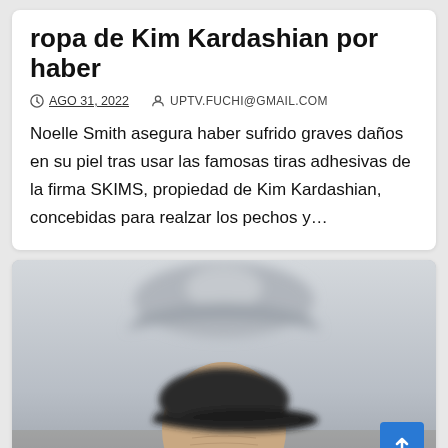ropa de Kim Kardashian por haber
AGO 31, 2022   UPTV.FUCHI@GMAIL.COM
Noelle Smith asegura haber sufrido graves daños en su piel tras usar las famosas tiras adhesivas de la firma SKIMS, propiedad de Kim Kardashian, concebidas para realzar los pechos y…
[Figure (photo): Photo of an elderly man wearing a black flat cap, with a blurred aircraft or vehicle in the background]